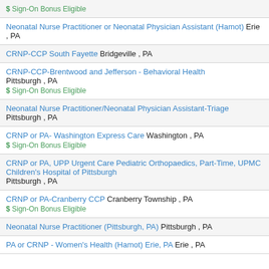$ Sign-On Bonus Eligible
Neonatal Nurse Practitioner or Neonatal Physician Assistant (Hamot) Erie , PA
CRNP-CCP South Fayette Bridgeville , PA
CRNP-CCP-Brentwood and Jefferson - Behavioral Health Pittsburgh , PA $ Sign-On Bonus Eligible
Neonatal Nurse Practitioner/Neonatal Physician Assistant-Triage Pittsburgh , PA
CRNP or PA- Washington Express Care Washington , PA $ Sign-On Bonus Eligible
CRNP or PA, UPP Urgent Care Pediatric Orthopaedics, Part-Time, UPMC Children's Hospital of Pittsburgh Pittsburgh , PA
CRNP or PA-Cranberry CCP Cranberry Township , PA $ Sign-On Bonus Eligible
Neonatal Nurse Practitioner (Pittsburgh, PA) Pittsburgh , PA
PA or CRNP - Women's Health (Hamot) Erie, PA Erie , PA